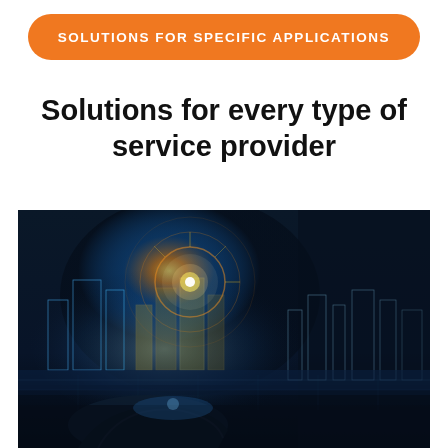SOLUTIONS FOR SPECIFIC APPLICATIONS
Solutions for every type of service provider
[Figure (photo): A person holding a holographic city skyline in their hand with digital technology overlays and glowing light effects against a dark background]